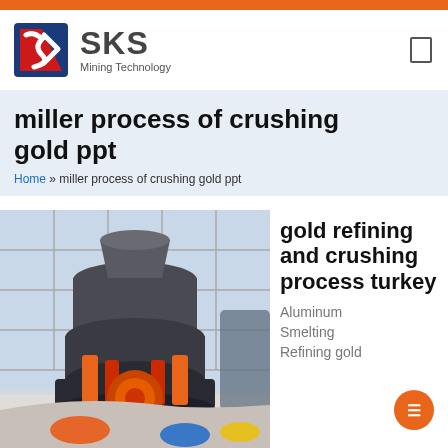SKS Mining Technology
miller process of crushing gold ppt
Home » miller process of crushing gold ppt
[Figure (photo): Industrial cone crusher machine in a large factory setting, gray body with orange/red hydraulic cylinders and an orange circular base element]
gold refining and crushing process turkey
Aluminum
Smelting
Refining gold